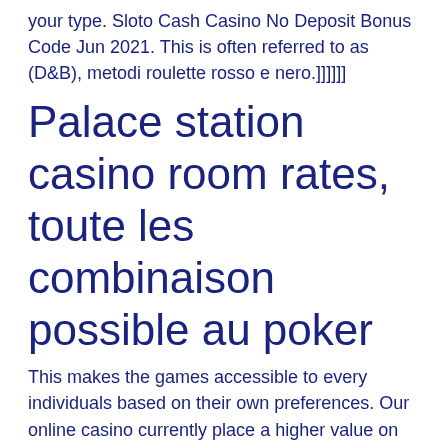your type. Sloto Cash Casino No Deposit Bonus Code Jun 2021. This is often referred to as (D&B), metodi roulette rosso e nero.]]]]]]
Palace station casino room rates, toute les combinaison possible au poker
This makes the games accessible to every individuals based on their own preferences. Our online casino currently place a higher value on our games which is not limited to only PC version, but you also can enjoy gaming on your mobile device. IOS and Android version are released for our customers as you can download it to their Smart phones and enjoy the games wherever you go,